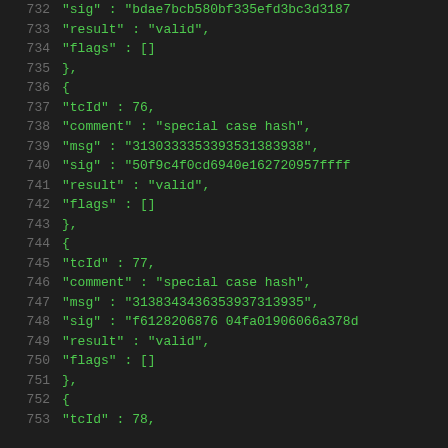Code listing lines 732-753 showing JSON test vector data with tcId, comment, msg, sig, result, and flags fields
732   "sig" : "bdae7bcb580bf335efd3bc3d3187..."
733   "result" : "valid",
734   "flags" : []
735   },
736   {
737   "tcId" : 76,
738   "comment" : "special case hash",
739   "msg" : "3130333353393531383938",
740   "sig" : "50f9c4f0cd6940e162720957ffff..."
741   "result" : "valid",
742   "flags" : []
743   },
744   {
745   "tcId" : 77,
746   "comment" : "special case hash",
747   "msg" : "3138343436353937313935",
748   "sig" : "f6128206876 04fa01906066a378d..."
749   "result" : "valid",
750   "flags" : []
751   },
752   {
753   "tcId" : 78,